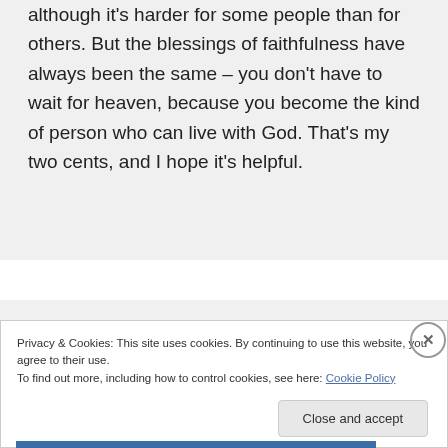although it's harder for some people than for others. But the blessings of faithfulness have always been the same – you don't have to wait for heaven, because you become the kind of person who can live with God. That's my two cents, and I hope it's helpful.
Privacy & Cookies: This site uses cookies. By continuing to use this website, you agree to their use.
To find out more, including how to control cookies, see here: Cookie Policy